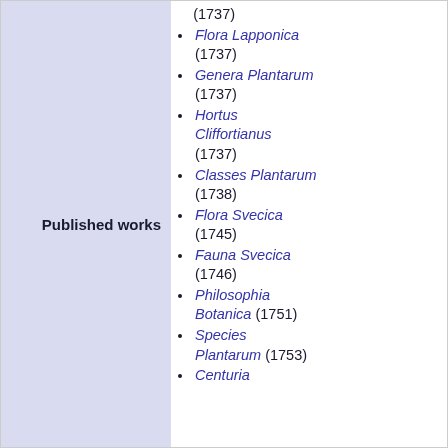(1737)
Flora Lapponica (1737)
Genera Plantarum (1737)
Hortus Cliffortianus (1737)
Classes Plantarum (1738)
Flora Svecica (1745)
Fauna Svecica (1746)
Philosophia Botanica (1751)
Species Plantarum (1753)
Centuria